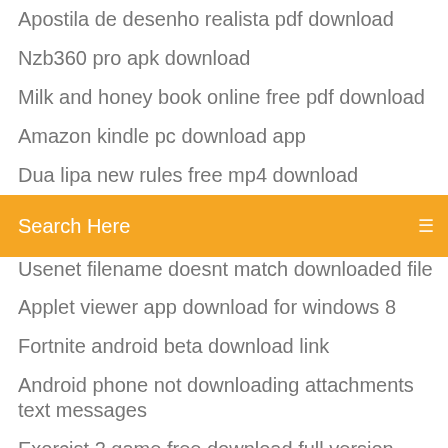Apostila de desenho realista pdf download
Nzb360 pro apk download
Milk and honey book online free pdf download
Amazon kindle pc download app
Dua lipa new rules free mp4 download
Forest of the blue skin ver 1.15a download
[Figure (other): Orange search bar with text 'Search Here' and a menu icon on the right]
Usenet filename doesnt match downloaded file
Applet viewer app download for windows 8
Fortnite android beta download link
Android phone not downloading attachments text messages
Exorcist 2 game free download full version
Minecraft 1.7 2 launcher free download
Iron man 3 jarvis app ios download
Minecraft shaders 1.6.4 download
Mobdro best apk files download
Evoland pc free download